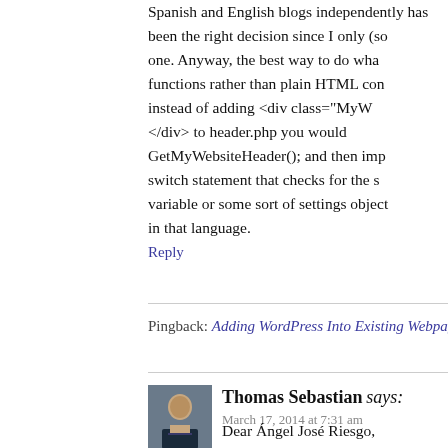Spanish and English blogs independently has been the right decision since I only (so one. Anyway, the best way to do what functions rather than plain HTML con instead of adding <div class="MyW </div> to header.php you would GetMyWebsiteHeader(); and then imp switch statement that checks for the s variable or some sort of settings object in that language.
Reply
Pingback: Adding WordPress Into Existing Webpage | Christopher Mack B
Thomas Sebastian says:
March 17, 2014 at 7:31 am
Dear Ángel José Riesgo,